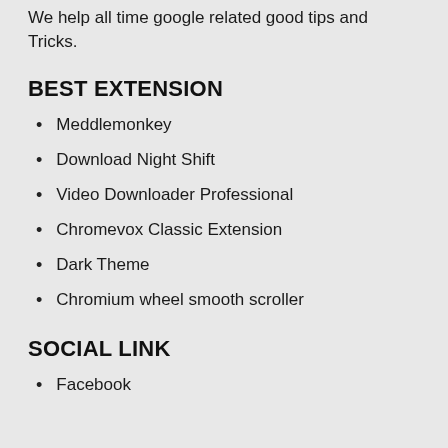We help all time google related good tips and Tricks.
BEST EXTENSION
Meddlemonkey
Download Night Shift
Video Downloader Professional
Chromevox Classic Extension
Dark Theme
Chromium wheel smooth scroller
SOCIAL LINK
Facebook